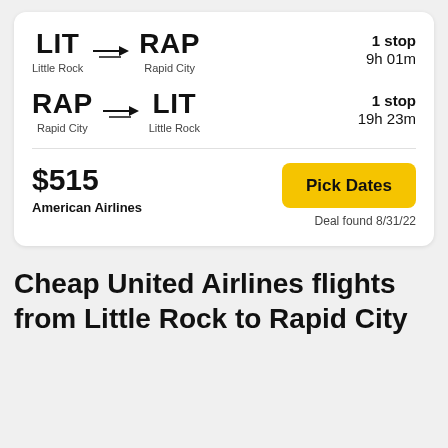LIT → RAP | Little Rock to Rapid City | 1 stop | 9h 01m
RAP → LIT | Rapid City to Little Rock | 1 stop | 19h 23m
$515
American Airlines
Pick Dates
Deal found 8/31/22
Cheap United Airlines flights from Little Rock to Rapid City